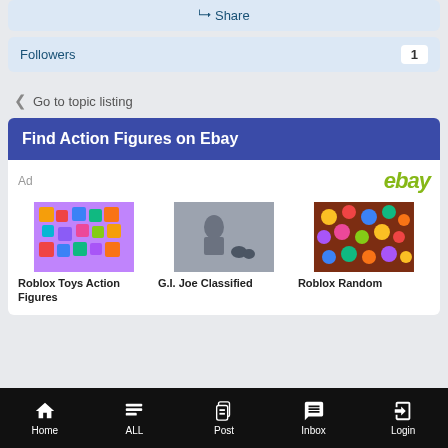[Figure (screenshot): Share button row with share icon]
[Figure (screenshot): Followers row showing count of 1]
< Go to topic listing
Find Action Figures on Ebay
[Figure (screenshot): eBay ad section showing three product thumbnails: Roblox Toys Action Figures, G.I. Joe Classified, and Roblox Random with colorful and grayscale product images]
Home  ALL  Post  Inbox  Login